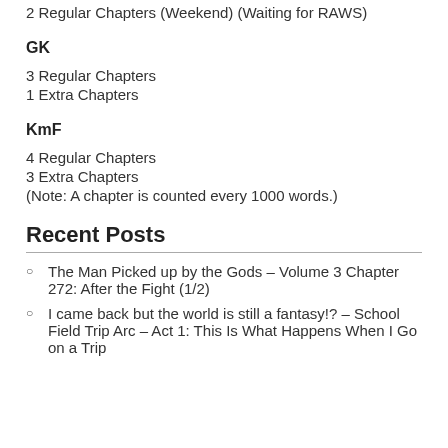2 Regular Chapters (Weekend) (Waiting for RAWS)
GK
3 Regular Chapters
1 Extra Chapters
KmF
4 Regular Chapters
3 Extra Chapters
(Note: A chapter is counted every 1000 words.)
Recent Posts
The Man Picked up by the Gods – Volume 3 Chapter 272: After the Fight (1/2)
I came back but the world is still a fantasy!? – School Field Trip Arc – Act 1: This Is What Happens When I Go on a Trip